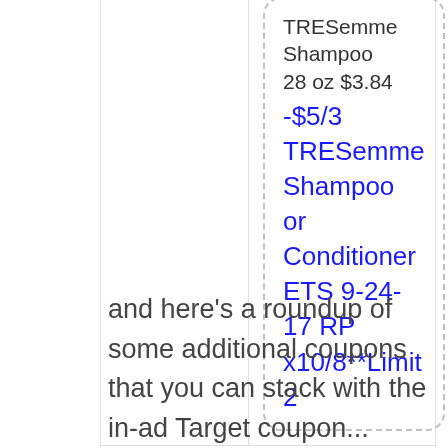TRESemme Shampoo 28 oz $3.84 -$5/3 TRESemme Shampoo or Conditioner ETS 9-24-17 RP x10/8**Limit 2
and here’s a roundup of some additional coupons that you can stack with the in-ad Target coupon...